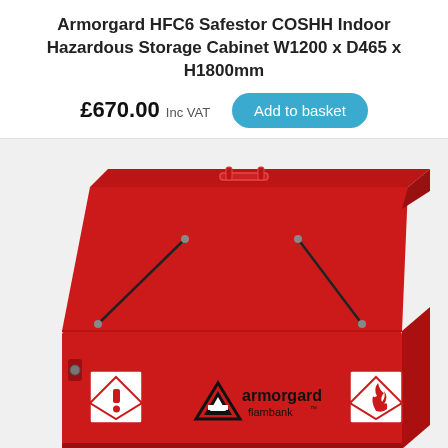Armorgard HFC6 Safestor COSHH Indoor Hazardous Storage Cabinet W1200 x D465 x H1800mm
£670.00 Inc VAT
[Figure (photo): Red Armorgard Flambank hazardous storage cabinet with lid open, showing two gas struts, armorgard flambank branding, and two GHS hazard warning symbols (exclamation mark and flame).]